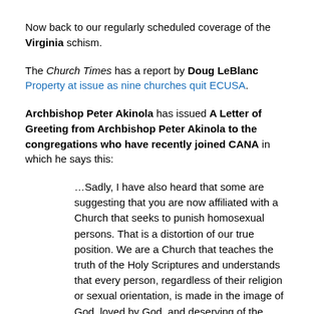Now back to our regularly scheduled coverage of the Virginia schism.
The Church Times has a report by Doug LeBlanc Property at issue as nine churches quit ECUSA.
Archbishop Peter Akinola has issued A Letter of Greeting from Archbishop Peter Akinola to the congregations who have recently joined CANA in which he says this:
…Sadly, I have also heard that some are suggesting that you are now affiliated with a Church that seeks to punish homosexual persons. That is a distortion of our true position. We are a Church that teaches the truth of the Holy Scriptures and understands that every person, regardless of their religion or sexual orientation, is made in the image of God, loved by God, and deserving of the utmost respect. That is the conviction that informs our passion for evangelism and drives our determination to establish new dioceses and congregations. We have no desire to place anyone outside the reach of God's saving love and that is